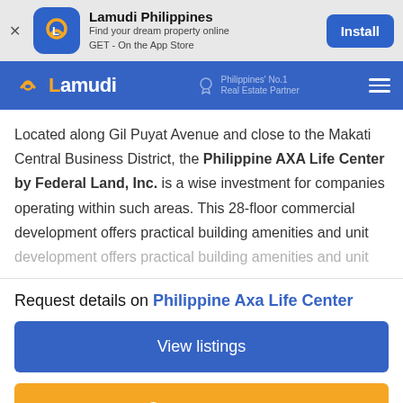[Figure (screenshot): Lamudi Philippines app install banner with icon, app name, tagline, and Install button]
[Figure (logo): Lamudi Philippines navigation bar with logo, Philippines No.1 Real Estate Partner badge, and hamburger menu]
Located along Gil Puyat Avenue and close to the Makati Central Business District, the Philippine AXA Life Center by Federal Land, Inc. is a wise investment for companies operating within such areas. This 28-floor commercial development offers practical building amenities and unit
Request details on Philippine Axa Life Center
View listings
Contact agents